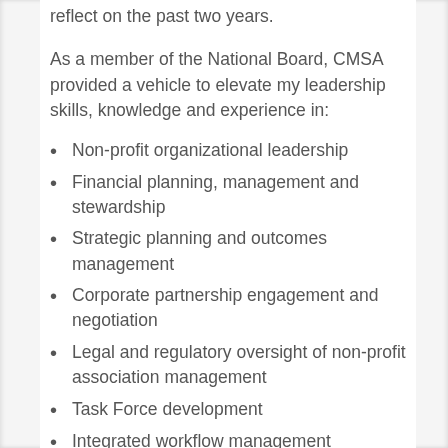reflect on the past two years.
As a member of the National Board, CMSA provided a vehicle to elevate my leadership skills, knowledge and experience in:
Non-profit organizational leadership
Financial planning, management and stewardship
Strategic planning and outcomes management
Corporate partnership engagement and negotiation
Legal and regulatory oversight of non-profit association management
Task Force development
Integrated workflow management
Virtual technology and digital education
Conference and meeting planning